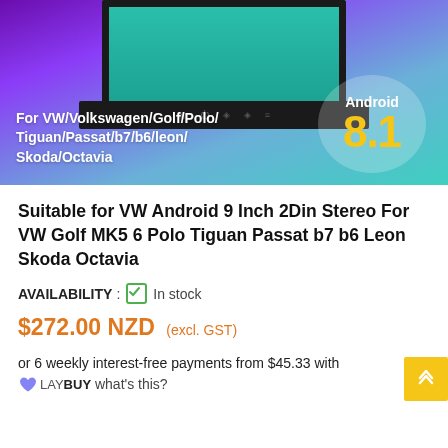[Figure (photo): Product image of an Android car stereo head unit with a teal/blue screen, set against a purple/violet background. Text overlay reads 'For VW/Volkswagen/Golf/Polo/Tiguan/Passat/b7/b6/leon/Skoda/Octavia' and 'Android 8.1' badge on the right.]
Suitable for VW Android 9 Inch 2Din Stereo For VW Golf MK5 6 Polo Tiguan Passat b7 b6 Leon Skoda Octavia
AVAILABILITY : ✓ In stock
$272.00 NZD (excl. GST)
or 6 weekly interest-free payments from $45.33 with LAYBUY what's this?